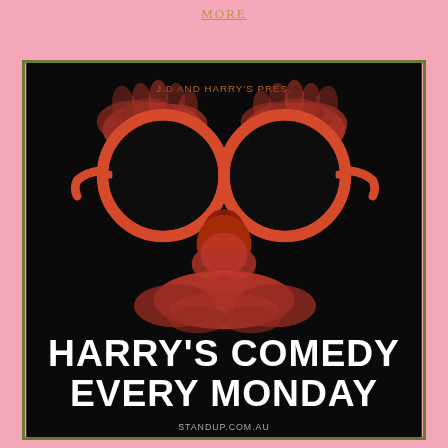MORE
[Figure (illustration): Comedy event poster on black background. Features a stylized cartoon disguise face with red round glasses, large red bushy eyebrows, a big red nose, and a red mustache. Text at top reads 'J.D AND HARRY'S PRES.' and at bottom in large white bold text: 'HARRY'S COMEDY EVERY MONDAY' with a website URL partially visible at bottom.]